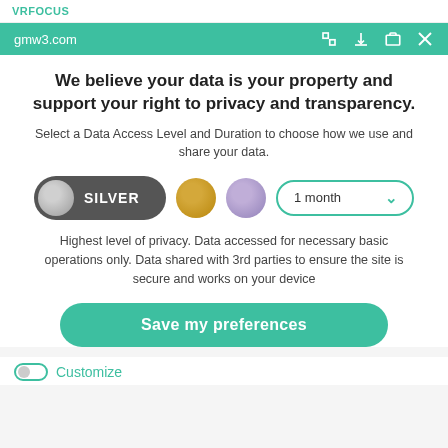VRFOCUS
gmw3.com
We believe your data is your property and support your right to privacy and transparency.
Select a Data Access Level and Duration to choose how we use and share your data.
[Figure (other): Privacy level selector showing SILVER toggle button (dark grey pill with silver circle), gold circle, purple circle, and '1 month' dropdown selector]
Highest level of privacy. Data accessed for necessary basic operations only. Data shared with 3rd parties to ensure the site is secure and works on your device
Save my preferences
Customize